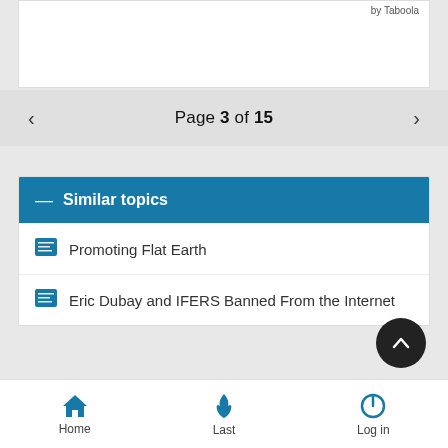[Figure (other): Advertisement area with 'by Taboola' label]
< Page 3 of 15 >
— Similar topics
Promoting Flat Earth
Eric Dubay and IFERS Banned From the Internet
Home  Last  Log in